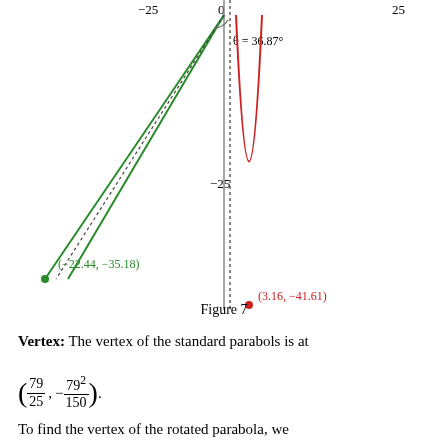[Figure (engineering-diagram): Mathematical diagram showing a coordinate plane with a parabola and geometric construction. Green lines form a triangle-like shape from near origin to point (-22.44, -35.18). A red parabola curves down to vertex (3.16, -41.61). A dotted vertical line passes through. Angle theta=36.87 degrees marked near origin. Axis labels: -25 on left, 0 at top center, 25 on right, -25 on y-axis mid.]
Figure 7
Vertex: The vertex of the standard parabols is at
To find the vertex of the rotated parabola, we